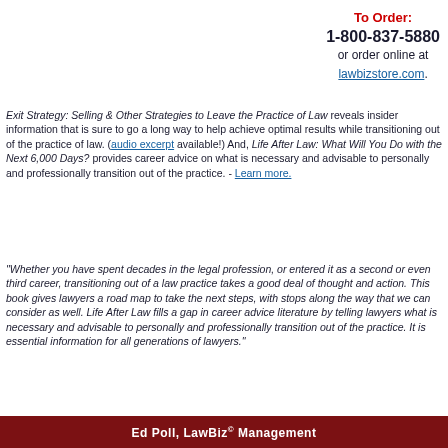To Order:
1-800-837-5880
or order online at
lawbizstore.com.
Exit Strategy: Selling & Other Strategies to Leave the Practice of Law reveals insider information that is sure to go a long way to help achieve optimal results while transitioning out of the practice of law. (audio excerpt available!) And, Life After Law: What Will You Do with the Next 6,000 Days? provides career advice on what is necessary and advisable to personally and professionally transition out of the practice. - Learn more.
"Whether you have spent decades in the legal profession, or entered it as a second or even third career, transitioning out of a law practice takes a good deal of thought and action. This book gives lawyers a road map to take the next steps, with stops along the way that we can consider as well. Life After Law fills a gap in career advice literature by telling lawyers what is necessary and advisable to personally and professionally transition out of the practice. It is essential information for all generations of lawyers."
Ed Poll, LawBiz® Management